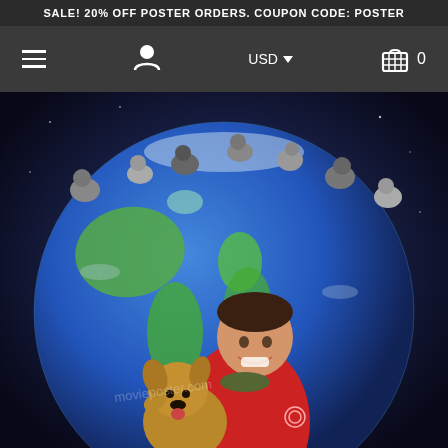SALE! 20% OFF POSTER ORDERS. COUPON CODE: POSTER
[Figure (screenshot): Website navigation bar with hamburger menu, user icon, USD currency selector with dropdown arrow, and shopping cart icon with 0 items]
[Figure (photo): Movie poster showing a smiling boy in a red jacket holding a small terrier dog, standing in front of a large globe of Earth with multiple dogs sitting on top of the globe against a blue space background. A watermark is visible across the image.]